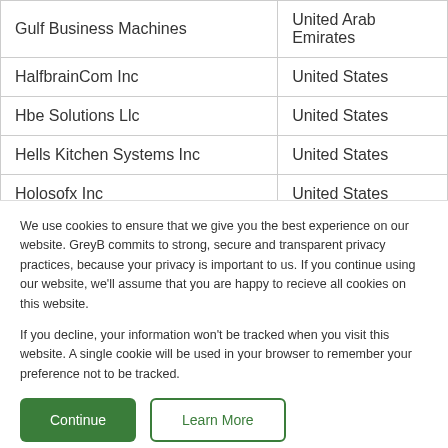| Company | Country |
| --- | --- |
| Gulf Business Machines | United Arab Emirates |
| HalfbrainCom Inc | United States |
| Hbe Solutions Llc | United States |
| Hells Kitchen Systems Inc | United States |
| Holosofx Inc | United States |
| Hoshanco Holding | Saudi Arabia |
We use cookies to ensure that we give you the best experience on our website. GreyB commits to strong, secure and transparent privacy practices, because your privacy is important to us. If you continue using our website, we'll assume that you are happy to recieve all cookies on this website.

If you decline, your information won't be tracked when you visit this website. A single cookie will be used in your browser to remember your preference not to be tracked.